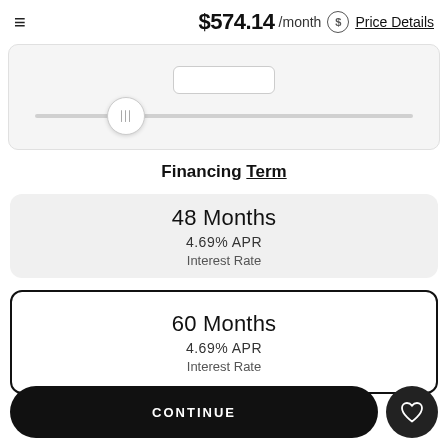$574.14 /month Price Details
[Figure (other): Slider UI component with input box and draggable thumb positioned approximately 1/4 from the left on a horizontal track]
Financing Term
48 Months
4.69% APR
Interest Rate
60 Months
4.69% APR
Interest Rate
CONTINUE